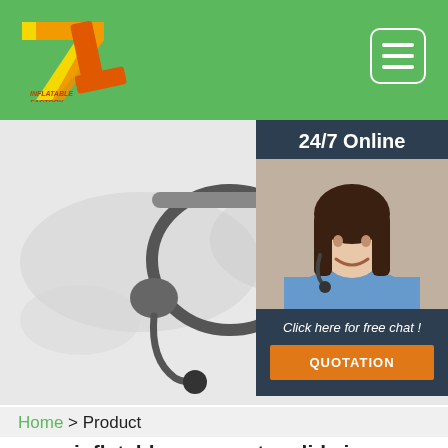TL [logo] | Hamburger menu button
[Figure (photo): Banner image showing a headset/headphones on a world map background with a coffee cup, suggesting global customer service]
[Figure (infographic): 24/7 Online customer service box with a smiling female agent wearing headset, 'Click here for free chat!' text, and orange QUOTATION button]
Home > Product
inflatable wave water slide inc...
Just fill in the form below, click submit, you will get the price list, and we will contact you within one working day. Please also feel free to contact us via email or phone. (* is required).
* N...